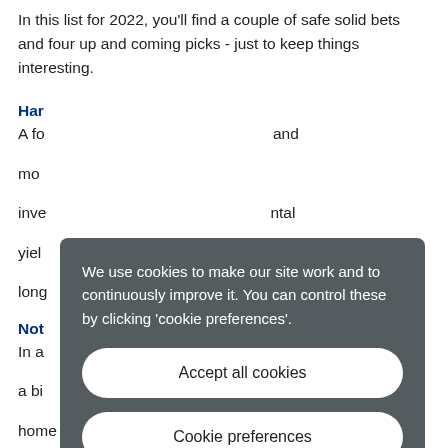In this list for 2022, you'll find a couple of safe solid bets and four up and coming picks - just to keep things interesting.
Har[rington — partially obscured]
A fo[ur…] and mod[ern…] inve[stment…] ntal yiel[d…] be long[…]
Not[tingham — partially obscured]
In a[…] y is a bi[g…] ge home here sells at around £138,44, far below typical house
[Figure (other): Cookie consent modal overlay with dark grey background. Contains text: 'We use cookies to make our site work and to continuously improve it. You can control these by clicking \'cookie preferences\'.' Two buttons: 'Accept all cookies' and 'Cookie preferences'.]